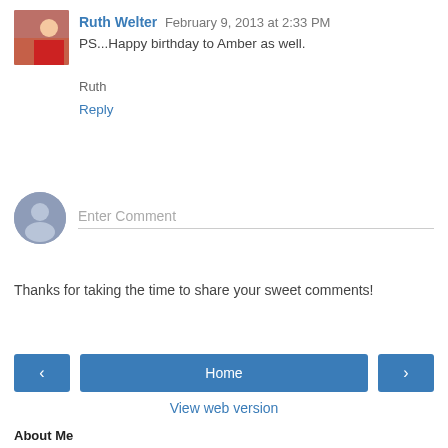Ruth Welter  February 9, 2013 at 2:33 PM
PS...Happy birthday to Amber as well.
Ruth
Reply
Enter Comment
Thanks for taking the time to share your sweet comments!
Home
View web version
About Me
Catherine Holman